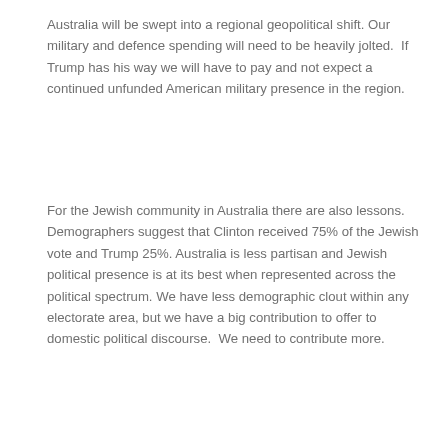Australia will be swept into a regional geopolitical shift. Our military and defence spending will need to be heavily jolted.  If Trump has his way we will have to pay and not expect a continued unfunded American military presence in the region.
For the Jewish community in Australia there are also lessons. Demographers suggest that Clinton received 75% of the Jewish vote and Trump 25%. Australia is less partisan and Jewish political presence is at its best when represented across the political spectrum. We have less demographic clout within any electorate area, but we have a big contribution to offer to domestic political discourse.  We need to contribute more.